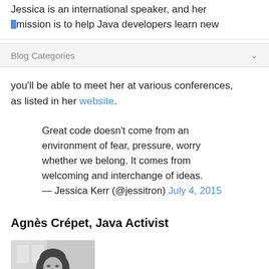Jessica is an international speaker, and her mission is to help Java developers learn new
Blog Categories
you'll be able to meet her at various conferences, as listed in her website.
Great code doesn't come from an environment of fear, pressure, worry whether we belong. It comes from welcoming and interchange of ideas. — Jessica Kerr (@jessitron) July 4, 2015
Agnès Crépet, Java Activist
[Figure (photo): Black and white photo of Agnès Crépet]